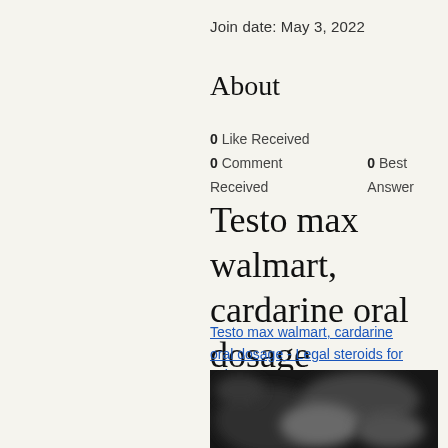Join date: May 3, 2022
About
0 Like Received
0 Comment Received    0 Best Answer
Testo max walmart, cardarine oral dosage
Testo max walmart, cardarine oral dosage - Legal steroids for sale
[Figure (photo): Blurred dark photo, partially visible, appears to show a product or person]